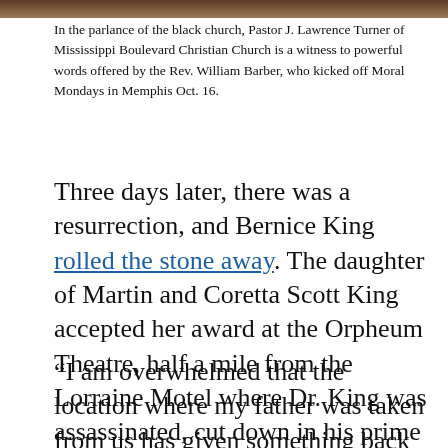[Figure (photo): Partial image strip at top of page showing a scene from Moral Mondays event]
In the parlance of the black church, Pastor J. Lawrence Turner of Mississippi Boulevard Christian Church is a witness to powerful words offered by the Rev. William Barber, who kicked off Moral Mondays in Memphis Oct. 16.
Three days later, there was a resurrection, and Bernice King rolled the stone away. The daughter of Martin and Coretta Scott King accepted her award at the Orpheum Theatre, half a mile from the Lorraine Motel where Dr. King was assassinated, cut down in his prime on a prophetic mission.
“I am overwhelmed that the location where my father was taken from us has given something back to me,” Bernice King said.